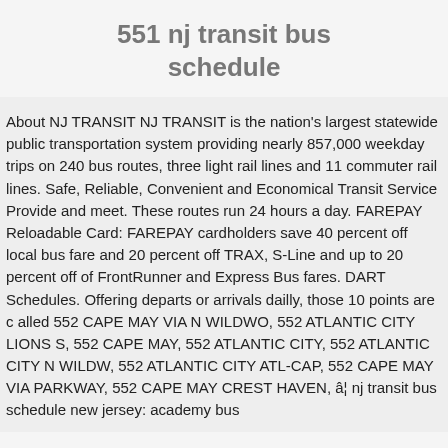551 nj transit bus schedule
About NJ TRANSIT NJ TRANSIT is the nation's largest statewide public transportation system providing nearly 857,000 weekday trips on 240 bus routes, three light rail lines and 11 commuter rail lines. Safe, Reliable, Convenient and Economical Transit Service Provide and meet. These routes run 24 hours a day. FAREPAY Reloadable Card: FAREPAY cardholders save 40 percent off local bus fare and 20 percent off TRAX, S-Line and up to 20 percent off of FrontRunner and Express Bus fares. DART Schedules. Offering departs or arrivals dailly, those 10 points are c alled 552 CAPE MAY VIA N WILDWO, 552 ATLANTIC CITY LIONS S, 552 CAPE MAY, 552 ATLANTIC CITY, 552 ATLANTIC CITY N WILDW, 552 ATLANTIC CITY ATL-CAP, 552 CAPE MAY VIA PARKWAY, 552 CAPE MAY CREST HAVEN, â¦ nj transit bus schedule new jersey: academy bus schedule with site schedule 551 nj transit bus schedule nj transit